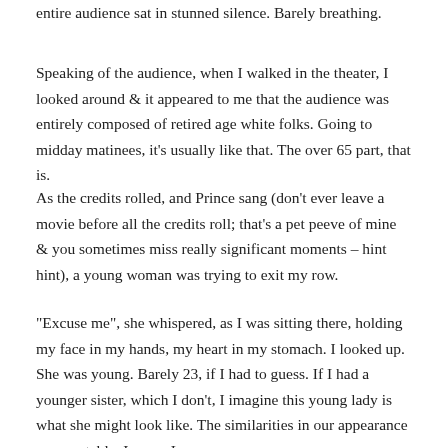entire audience sat in stunned silence. Barely breathing.
Speaking of the audience, when I walked in the theater, I looked around & it appeared to me that the audience was entirely composed of retired age white folks. Going to midday matinees, it's usually like that. The over 65 part, that is.
As the credits rolled, and Prince sang (don't ever leave a movie before all the credits roll; that's a pet peeve of mine & you sometimes miss really significant moments – hint hint), a young woman was trying to exit my row.
“Excuse me”, she whispered, as I was sitting there, holding my face in my hands, my heart in my stomach. I looked up. She was young. Barely 23, if I had to guess. If I had a younger sister, which I don’t, I imagine this young lady is what she might look like. The similarities in our appearance were notable. I guess I